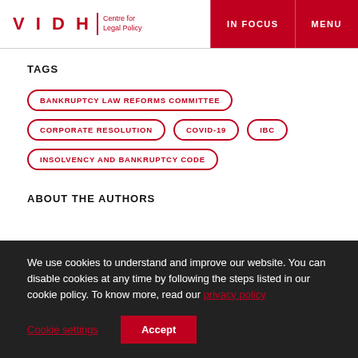VIDHI Centre for Legal Policy | IN FOCUS | MENU
TAGS
BANKRUPTCY LAW REFORMS COMMITTEE
CORPORATE RESOLUTION
COVID-19
IBC
INSOLVENCY AND BANKRUPTCY CODE
ABOUT THE AUTHORS
We use cookies to understand and improve our website. You can disable cookies at any time by following the steps listed in our cookie policy. To know more, read our privacy policy
Cookie settings | Accept